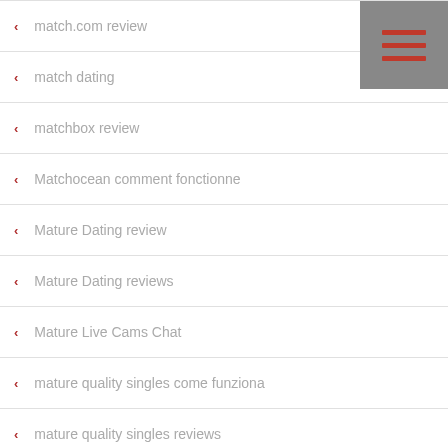match.com review
match dating
matchbox review
Matchocean comment fonctionne
Mature Dating review
Mature Dating reviews
Mature Live Cams Chat
mature quality singles come funziona
mature quality singles reviews
Mature Women Live Cam Sex
Mature Women Live Web Cam Porn
Mature XXX Webcam Chat Rooms
maxlend payday loans